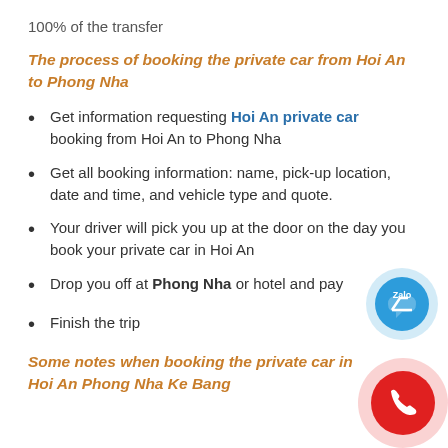100% of the transfer
The process of booking the private car from Hoi An to Phong Nha
Get information requesting Hoi An private car booking from Hoi An to Phong Nha
Get all booking information: name, pick-up location, date and time, and vehicle type and quote.
Your driver will pick you up at the door on the day you book your private car in Hoi An
Drop you off at Phong Nha or hotel and pay
Finish the trip
Some notes when booking the private car in Hoi An Phong Nha Ke Bang
[Figure (illustration): Zalo chat button (blue circle with Zalo icon) and phone call button (red circle with phone icon) floating on the right side of the page]